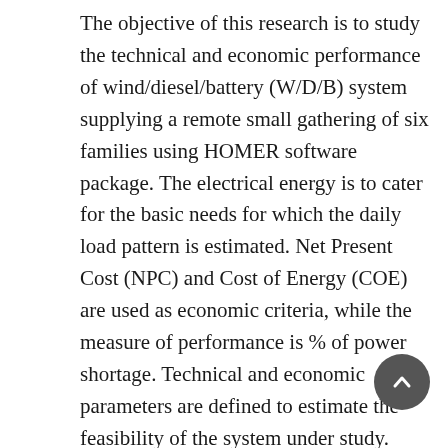The objective of this research is to study the technical and economic performance of wind/diesel/battery (W/D/B) system supplying a remote small gathering of six families using HOMER software package. The electrical energy is to cater for the basic needs for which the daily load pattern is estimated. Net Present Cost (NPC) and Cost of Energy (COE) are used as economic criteria, while the measure of performance is % of power shortage. Technical and economic parameters are defined to estimate the feasibility of the system under study. Optimum system configurations are estimated for two sites. Using HOMER software, the simulation results showed that W/D/B systems are economical for the assumed community sites as the price of generated electricity is about 0.308 $/kWh, without taking external benefits into considerations. W/D/B systems are more economical than W/B or diesel alone systems, as the